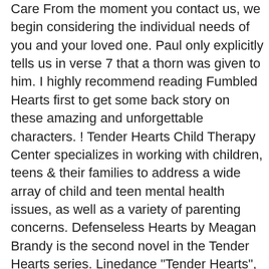Care From the moment you contact us, we begin considering the individual needs of you and your loved one. Paul only explicitly tells us in verse 7 that a thorn was given to him. I highly recommend reading Fumbled Hearts first to get some back story on these amazing and unforgettable characters. ! Tender Hearts Child Therapy Center specializes in working with children, teens & their families to address a wide array of child and teen mental health issues, as well as a variety of parenting concerns. Defenseless Hearts by Meagan Brandy is the second novel in the Tender Hearts series. Linedance "Tender Hearts", 32 count, beginner/intermediateChor. Tender Hearts Caring Hands helps qualifying families with rental assistance to prevent individuals and families from being evicted and uprooted from their community. According to the recommendations of the mental health task force released on 7th July 2020, the government was urged to declare mental illness a National Emergency. And this is one reason. See families with their